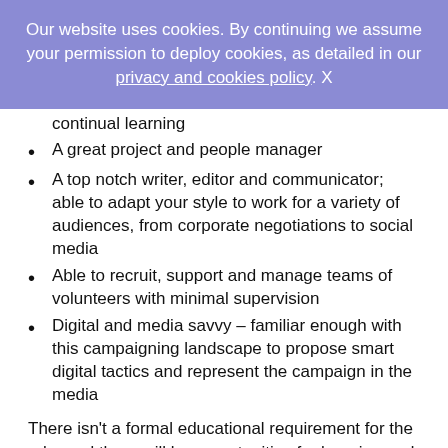Our website uses cookies. By continuing we assume your permission to deploy cookies, as detailed in our privacy and cookies policy. X
continual learning
A great project and people manager
A top notch writer, editor and communicator; able to adapt your style to work for a variety of audiences, from corporate negotiations to social media
Able to recruit, support and manage teams of volunteers with minimal supervision
Digital and media savvy – familiar enough with this campaigning landscape to propose smart digital tactics and represent the campaign in the media
There isn't a formal educational requirement for the role, and there will be opportunities for learning and mentorship within the campaigns team in everything from budgeting to international climate policy.
In addition, it's nice but not essential for you to have some of the following skills or experiences:
Demonstrated experience with successful corporate or markets campaigning